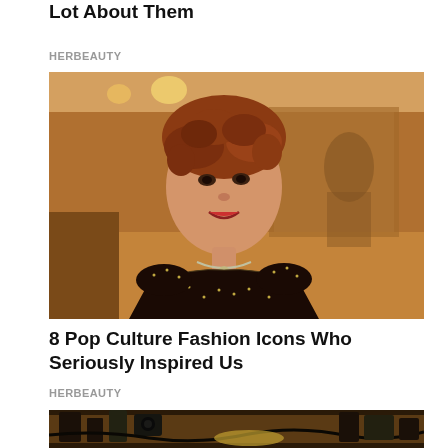Lot About Them
HERBEAUTY
[Figure (photo): Woman with red curly hair wearing a dark sparkly dress and diamond necklace, smiling in what appears to be a backstage or dressing room setting with warm lighting]
8 Pop Culture Fashion Icons Who Seriously Inspired Us
HERBEAUTY
[Figure (photo): Behind-the-scenes photo of a film or TV set with cameras, equipment, cables, and what appears to be a person or prop on the floor in a cluttered studio environment]